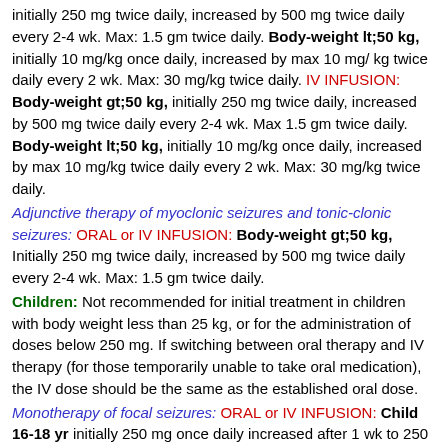initially 250 mg twice daily, increased by 500 mg twice daily every 2-4 wk. Max: 1.5 gm twice daily. Body-weight lt;50 kg, initially 10 mg/kg once daily, increased by max 10 mg/ kg twice daily every 2 wk. Max: 30 mg/kg twice daily. IV INFUSION: Body-weight gt;50 kg, initially 250 mg twice daily, increased by 500 mg twice daily every 2-4 wk. Max 1.5 gm twice daily. Body-weight lt;50 kg, initially 10 mg/kg once daily, increased by max 10 mg/kg twice daily every 2 wk. Max: 30 mg/kg twice daily.
Adjunctive therapy of myoclonic seizures and tonic-clonic seizures: ORAL or IV INFUSION: Body-weight gt;50 kg, Initially 250 mg twice daily, increased by 500 mg twice daily every 2-4 wk. Max: 1.5 gm twice daily.
Children: Not recommended for initial treatment in children with body weight less than 25 kg, or for the administration of doses below 250 mg. If switching between oral therapy and IV therapy (for those temporarily unable to take oral medication), the IV dose should be the same as the established oral dose.
Monotherapy of focal seizures: ORAL or IV INFUSION: Child 16-18 yr initially 250 mg once daily increased after 1 wk to 250 mg twice daily; thereafter, increased according to response in steps of 250 mg twice daily every 2 wk, max 1.5 gm twice daily.
Adjunctive therapy of focal seizures: ORAL: 1-6 mth, initially 7 mg/kg once daily, increased by max 7 mg/kg twice daily every 2 wk, max 21...